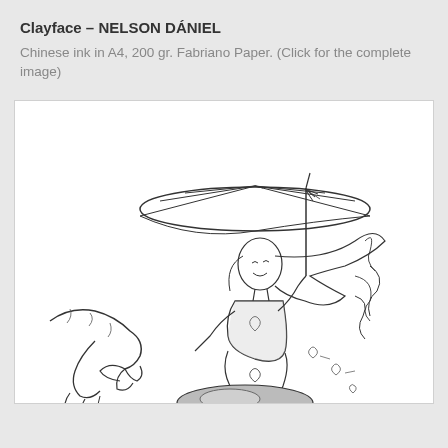Clayface – NELSON DÁNIEL
Chinese ink in A4, 200 gr. Fabriano Paper. (Click for the complete image)
[Figure (illustration): A line drawing illustration in Chinese ink showing a female figure in a corset outfit holding an ornate parasol/umbrella. She has long flowing hair and is standing on a sphere. A monstrous clay hand reaches toward her from the left. Small heart shapes float around her lower body. The style is comic book / sketch art.]